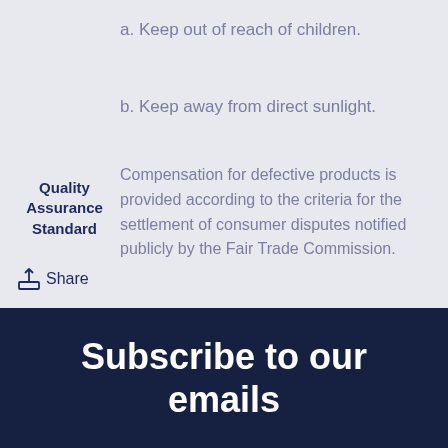a. Keep out of reach of children.
b. Keep away from direct sunlight.
Quality Assurance Standard
Compensation for defective products is provided according to the criteria for the settlement of consumer disputes notified publicly by the Fair Trade Commission.
Share
Subscribe to our emails